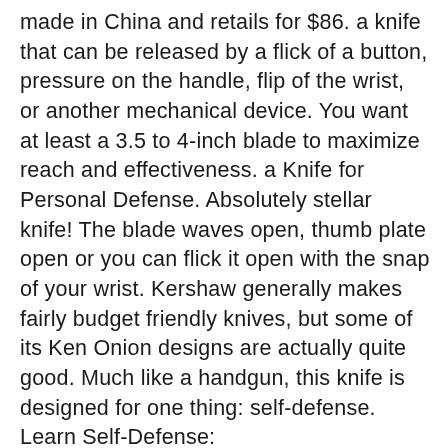made in China and retails for $86. a knife that can be released by a flick of a button, pressure on the handle, flip of the wrist, or another mechanical device. You want at least a 3.5 to 4-inch blade to maximize reach and effectiveness. a Knife for Personal Defense. Absolutely stellar knife! The blade waves open, thumb plate open or you can flick it open with the snap of your wrist. Kershaw generally makes fairly budget friendly knives, but some of its Ken Onion designs are actually quite good. Much like a handgun, this knife is designed for one thing: self-defense. Learn Self-Defense: https://www.codereddefense.com/newsletter In this video, we show you how to use a knife for self-defense. A self-defense knife is a special breed of knife. WWI U.S. 1918 Trench Knife I crossed the street a couple of times to make sure I was not suspicious for no reason. Im 5'9" and about 195lbs. Is it the best? Probably. Before we begin, let me start with the fact that a firearm is a much better